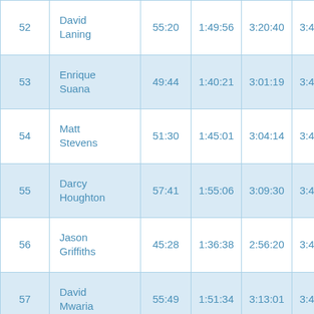| # | Name | Split 1 | Split 2 | Split 3 | Finish |
| --- | --- | --- | --- | --- | --- |
| 52 | David Laning | 55:20 | 1:49:56 | 3:20:40 | 3:45:37 |
| 53 | Enrique Suana | 49:44 | 1:40:21 | 3:01:19 | 3:44:55 |
| 54 | Matt Stevens | 51:30 | 1:45:01 | 3:04:14 | 3:44:47 |
| 55 | Darcy Houghton | 57:41 | 1:55:06 | 3:09:30 | 3:49:17 |
| 56 | Jason Griffiths | 45:28 | 1:36:38 | 2:56:20 | 3:40:43 |
| 57 | David Mwaria | 55:49 | 1:51:34 | 3:13:01 | 3:46:10 |